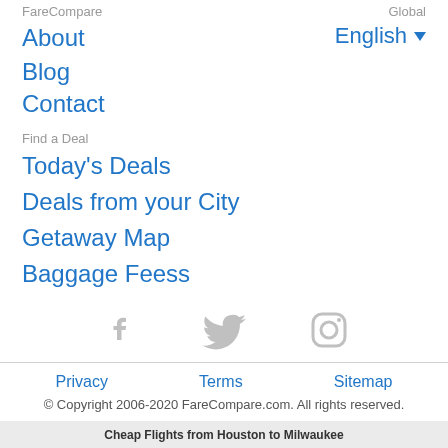FareCompare
Global
About
English ▾
Blog
Contact
Find a Deal
Today's Deals
Deals from your City
Getaway Map
Baggage Feess
[Figure (infographic): Social media icons: Facebook, Twitter, Instagram (all in light gray)]
Privacy   Terms   Sitemap
© Copyright 2006-2020 FareCompare.com. All rights reserved.
Cheap Flights from Houston to Milwaukee